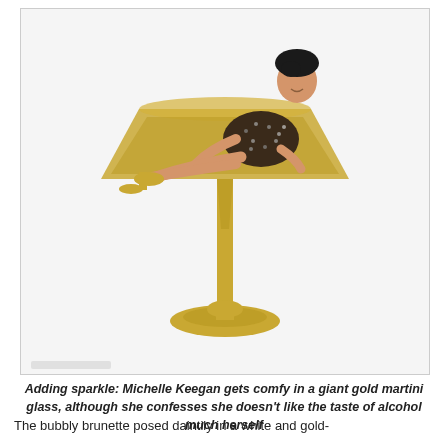[Figure (photo): A brunette woman in a sparkly dark sequined dress and gold high heels sits comfortably inside a giant gold martini glass prop, posing for a photo shoot against a white background.]
Adding sparkle: Michelle Keegan gets comfy in a giant gold martini glass, although she confesses she doesn't like the taste of alcohol much herself
The bubbly brunette posed daintily in a white and gold-